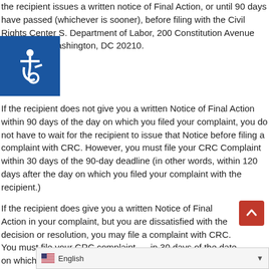the recipient issues a written notice of Final Action, or until 90 days have passed (whichever is sooner), before filing with the Civil Rights Center S. Department of Labor, 200 Constitution Avenue NW, Room N- ashington, DC 20210.
[Figure (logo): Blue accessibility (wheelchair) icon on dark blue background]
If the recipient does not give you a written Notice of Final Action within 90 days of the day on which you filed your complaint, you do not have to wait for the recipient to issue that Notice before filing a complaint with CRC. However, you must file your CRC Complaint within 30 days of the 90-day deadline (in other words, within 120 days after the day on which you filed your complaint with the recipient.)
If the recipient does give you a written Notice of Final Action in your complaint, but you are dissatisfied with the decision or resolution, you may file a complaint with CRC. You must file your CRC complaint in 30 days of the date on which you received the Notice of Final Action
[Figure (other): Scroll-to-top red button with upward arrow]
English